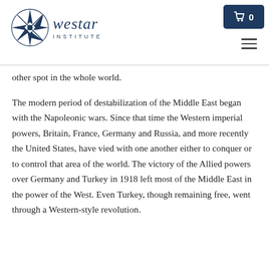[Figure (logo): Westar Institute logo with compass rose and stylized text]
other spot in the whole world.
The modern period of destabilization of the Middle East began with the Napoleonic wars. Since that time the Western imperial powers, Britain, France, Germany and Russia, and more recently the United States, have vied with one another either to conquer or to control that area of the world. The victory of the Allied powers over Germany and Turkey in 1918 left most of the Middle East in the power of the West. Even Turkey, though remaining free, went through a Western-style revolution.